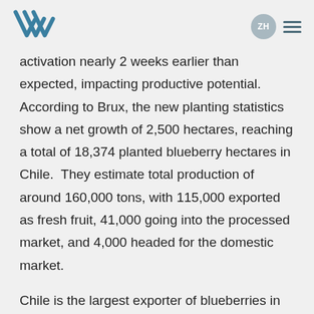ZH
activation nearly 2 weeks earlier than expected, impacting productive potential. According to Brux, the new planting statistics show a net growth of 2,500 hectares, reaching a total of 18,374 planted blueberry hectares in Chile.  They estimate total production of around 160,000 tons, with 115,000 exported as fresh fruit, 41,000 going into the processed market, and 4,000 headed for the domestic market.
Chile is the largest exporter of blueberries in the world, and always